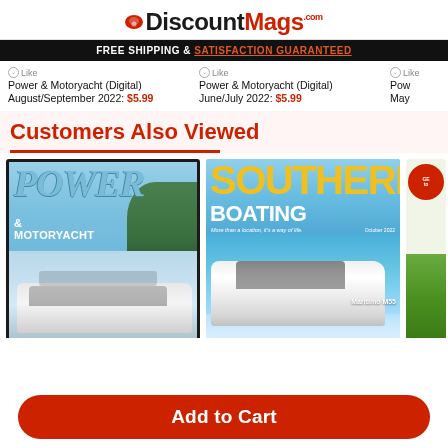DiscountMags.com
FREE SHIPPING & SATISFACTION GUARANTEED
Like   Power & Motoryacht (Digital) August/September 2022: $5.99
Like   Power & Motoryacht (Digital) June/July 2022: $5.99
Like   Pow May
Customers Also Viewed
[Figure (photo): Magazine cover of Power & Motoryacht showing a white luxury yacht with text POWER & MOTORYACHT ESCAPE CALLING]
[Figure (photo): Magazine cover of Southern Boating showing a white motorboat on water with text SOUTHERN BOATING More than a location, it's a way of life. Maritimo M55]
[Figure (photo): Partial magazine cover, partially visible, showing red circle badge and green bottom]
Add to Cart